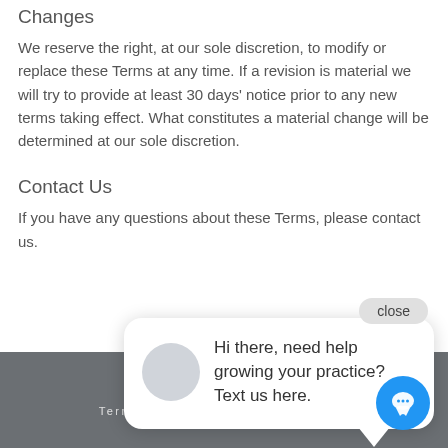Changes
We reserve the right, at our sole discretion, to modify or replace these Terms at any time. If a revision is material we will try to provide at least 30 days' notice prior to any new terms taking effect. What constitutes a material change will be determined at our sole discretion.
Contact Us
If you have any questions about these Terms, please contact us.
[Figure (screenshot): Chat popup widget with close button, avatar circle, and message: 'Hi there, need help growing your practice? Text us here.']
Privacy Policy   Terms and Conditions   Disclaimer